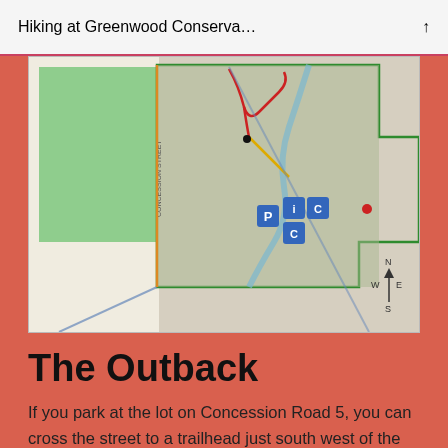Hiking at Greenwood Conserva…
[Figure (map): Trail map of Greenwood Conservation area showing property boundaries outlined in green, a green-shaded field area on the left, aerial/satellite imagery of forested and river areas in the center and right, colored trail routes (red, yellow, blue), parking/facility icons in blue squares near the center, and a north arrow in the lower right corner. A road labeled appears on the left side.]
The Outback
If you park at the lot on Concession Road 5, you can cross the street to a trailhead just south west of the road. This seems to be a less busy area and entrance if you are looking for more of a private walk.